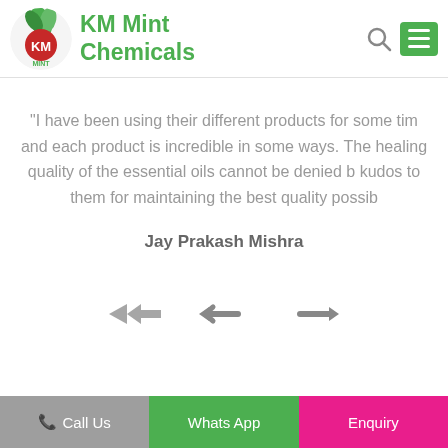KM Mint Chemicals
"I have been using their different products for some time and each product is incredible in some ways. The healing quality of the essential oils cannot be denied but kudos to them for maintaining the best quality possible
Jay Prakash Mishra
[Figure (other): Left and right navigation arrows for testimonial carousel]
Call Us   Whats App   Enquiry